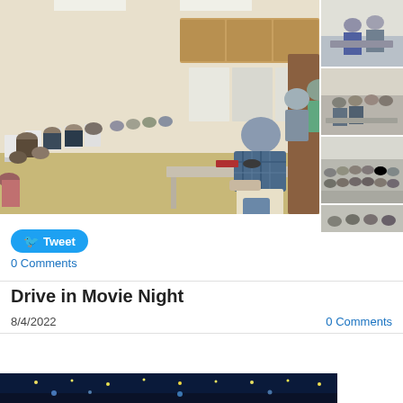[Figure (photo): Indoor gathering/meeting in a community room. People seated in folding chairs, a man in plaid shirt leaning over a table at center-right. Kitchen area visible in background.]
[Figure (photo): Thumbnail: two people standing at a desk/counter indoors.]
[Figure (photo): Thumbnail: audience seated in chairs inside a room.]
[Figure (photo): Thumbnail: larger audience seated in folding chairs inside a hall.]
[Figure (photo): Thumbnail: partial view of another indoor scene.]
Tweet
0 Comments
Drive in Movie Night
8/4/2022
0 Comments
[Figure (photo): Bottom partial image: dark blue/night sky background with lights, partial view of outdoor movie night scene.]